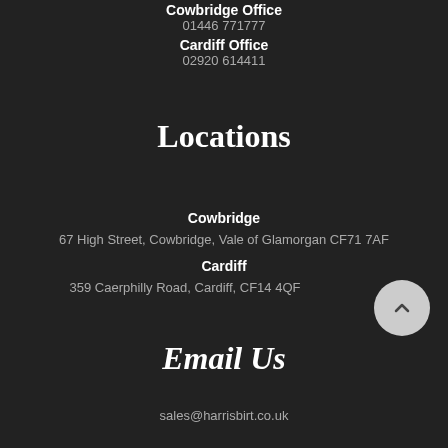Cowbridge Office
01446 771777
Cardiff Office
02920 614411
Locations
Cowbridge
67 High Street, Cowbridge, Vale of Glamorgan CF71 7AF
Cardiff
359 Caerphilly Road, Cardiff, CF14 4QF
Email Us
sales@harrisbirt.co.uk